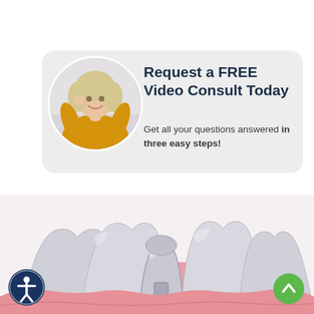Request a FREE Video Consult Today
Get all your questions answered in three easy steps!
[Figure (photo): Dental implant illustration showing silver tooth crowns with a dental implant screw visible among natural-looking teeth and pink gum tissue]
[Figure (illustration): Circular photo of a smiling middle-aged woman with blonde hair wearing a yellow shirt]
[Figure (illustration): Accessibility icon button (person with circle) in dark blue circle at bottom left]
[Figure (illustration): Scroll-up chevron button in green circle at bottom right]